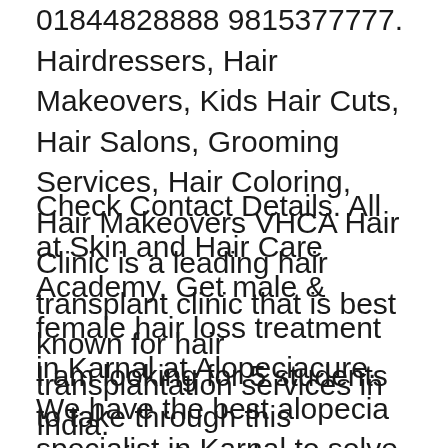01844828888 9815377777. Hairdressers, Hair Makeovers, Kids Hair Cuts, Hair Salons, Grooming Services, Hair Coloring, Hair Makeovers VHCA Hair Clinic is a leading hair transplant clinic that is best known for hair transplantation services in India.
Check Contact Details. All at Skin and Hair Care Academy. Get male & female hair loss treatment in Karnal at Alopeciacure. We have the best alopecia specialist in Karnal to solve all your hair loss problems & give you effective results. Hisar city population
I am looking for 5 students to take through this extensive 8-week program. Testimonials "I am so grateful that I am able to take the natural hair course with Ms. Corinthian. Beautiful Hair Solutions is an Essex-based mobile hair service, founded by